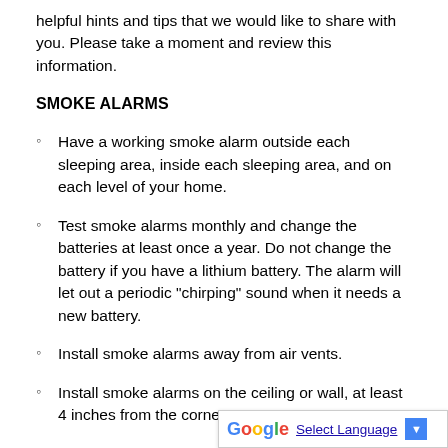helpful hints and tips that we would like to share with you. Please take a moment and review this information.
SMOKE ALARMS
Have a working smoke alarm outside each sleeping area, inside each sleeping area, and on each level of your home.
Test smoke alarms monthly and change the batteries at least once a year. Do not change the battery if you have a lithium battery. The alarm will let out a periodic "chirping" sound when it needs a new battery.
Install smoke alarms away from air vents.
Install smoke alarms on the ceiling or wall, at least 4 inches from the corners.
When affixed to walls, smoke a